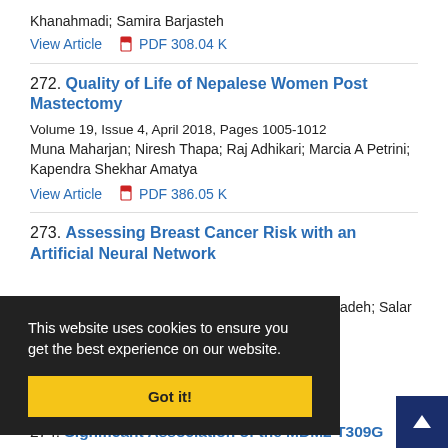Khanahmadi; Samira Barjasteh
View Article  PDF 308.04 K
272. Quality of Life of Nepalese Women Post Mastectomy
Volume 19, Issue 4, April 2018, Pages 1005-1012
Muna Maharjan; Niresh Thapa; Raj Adhikari; Marcia A Petrini; Kapendra Shekhar Amatya
View Article  PDF 386.05 K
273. Assessing Breast Cancer Risk with an Artificial Neural Network
adeh; Salar
This website uses cookies to ensure you get the best experience on our website.
Got it!
274. Significant Association of the MDM2 T309G